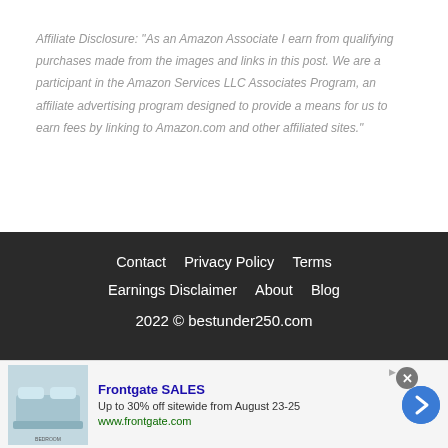Affiliate Disclosure: "As an Amazon Associate I earn from qualifying purchases made from the images and links in this post. We are a participant in the Amazon Services LLC Associates Program, an affiliate advertising program designed to provide a means for us to earn fees by linking to Amazon.com and other affiliated sites."
Contact   Privacy Policy   Terms   Earnings Disclaimer   About   Blog   2022 © bestunder250.com
[Figure (infographic): Advertisement banner: Frontgate SALES - Up to 30% off sitewide from August 23-25. www.frontgate.com. Shows a bedroom image on the left and a blue arrow button on the right.]